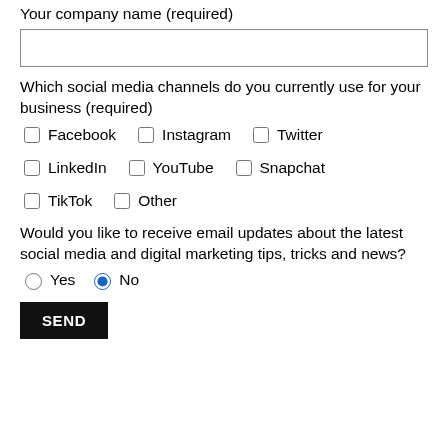Your company name (required)
Which social media channels do you currently use for your business (required)
Facebook  Instagram  Twitter
LinkedIn  YouTube  Snapchat
TikTok  Other
Would you like to receive email updates about the latest social media and digital marketing tips, tricks and news?
Yes  No (No selected)
SEND